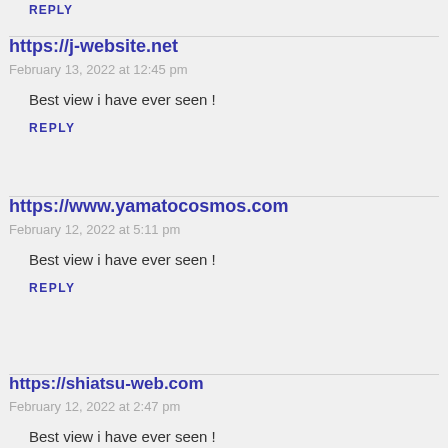REPLY
https://j-website.net
February 13, 2022 at 12:45 pm
Best view i have ever seen !
REPLY
https://www.yamatocosmos.com
February 12, 2022 at 5:11 pm
Best view i have ever seen !
REPLY
https://shiatsu-web.com
February 12, 2022 at 2:47 pm
Best view i have ever seen !